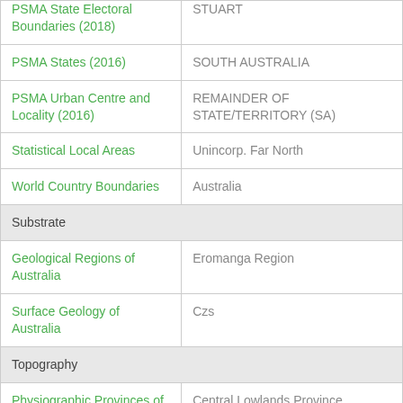| Layer | Value |
| --- | --- |
| PSMA State Electoral Boundaries (2018) | STUART |
| PSMA States (2016) | SOUTH AUSTRALIA |
| PSMA Urban Centre and Locality (2016) | REMAINDER OF STATE/TERRITORY (SA) |
| Statistical Local Areas | Unincorp. Far North |
| World Country Boundaries | Australia |
| Substrate |  |
| Geological Regions of Australia | Eromanga Region |
| Surface Geology of Australia | Czs |
| Topography |  |
| Physiographic Provinces of Australia | Central Lowlands Province |
| Physiographic Regions 2011 | Sturt Desert Plains |